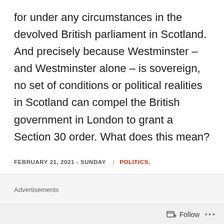for under any circumstances in the devolved British parliament in Scotland. And precisely because Westminster – and Westminster alone – is sovereign, no set of conditions or political realities in Scotland can compel the British government in London to grant a Section 30 order. What does this mean?
FEBRUARY 21, 2021 - SUNDAY | POLITICS,
Advertisements